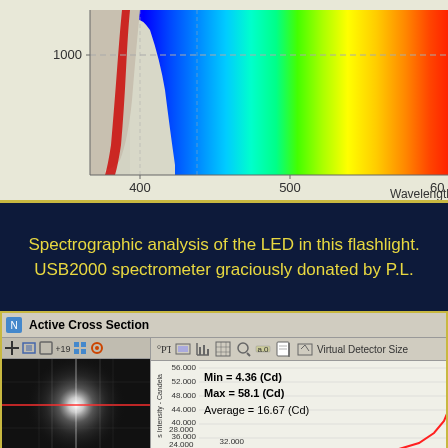[Figure (continuous-plot): Spectrographic analysis chart showing intensity vs wavelength (nm). Y-axis shows value 1000 marked with dashed line. X-axis shows wavelengths 400, 500, 600 nm. The spectrum is displayed as a color gradient from violet/blue at 400nm through green at 500nm to yellow/orange at 600nm. The intensity curve rises steeply from around 400nm.]
Spectrographic analysis of the LED in this flashlight. USB2000 spectrometer graciously donated by P.L.
[Figure (screenshot): Active Cross Section software window showing: toolbar at top, left panel with black and white starburst/bright spot image with red crosshair line, right panel showing intensity measurement chart with y-axis labeled 'Intensity - Candela' with values 24.000 to 56.000, and statistics showing Min = 4.36 (Cd), Max = 58.1 (Cd), Average = 16.67 (Cd). A red curve is visible in lower right of chart.]